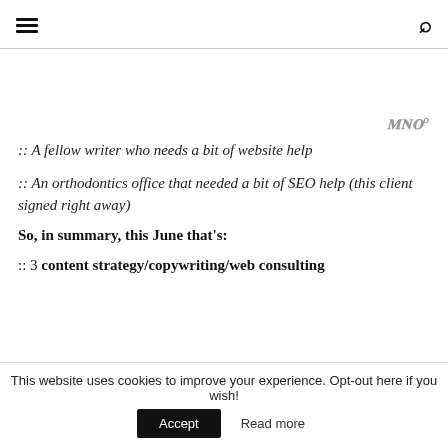☰ [menu icon] | 🔍 [search icon]
:: A fellow writer who needs a bit of website help
:: An orthodontics office that needed a bit of SEO help (this client signed right away)
So, in summary, this June that's:
:: 3 content strategy/copywriting/web consulting
This website uses cookies to improve your experience. Opt-out here if you wish! | Accept | Read more